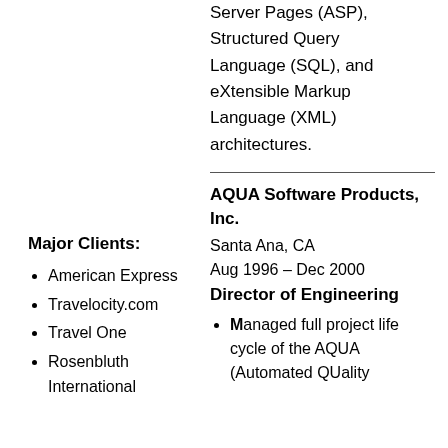Server Pages (ASP), Structured Query Language (SQL), and eXtensible Markup Language (XML) architectures.
Major Clients:
AQUA Software Products, Inc.
Santa Ana, CA
Aug 1996 – Dec 2000
Director of Engineering
American Express
Travelocity.com
Travel One
Rosenbluth International
Managed full project life cycle of the AQUA (Automated QUality